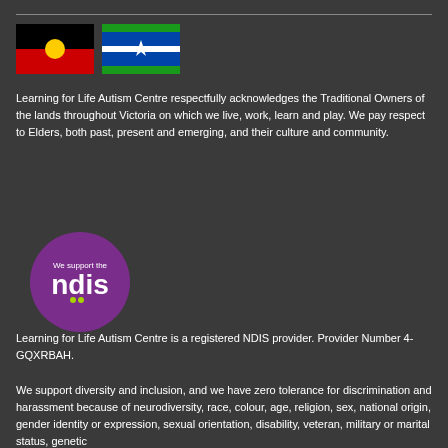[Figure (illustration): Australian Aboriginal flag (black top half, red bottom half, yellow circle in centre) and Torres Strait Islander flag (blue with green stripes top and bottom, white dhari headdress symbol in centre)]
Learning for Life Autism Centre respectfully acknowledges the Traditional Owners of the lands throughout Victoria on which we live, work, learn and play. We pay respect to Elders, both past, present and emerging, and their culture and community.
[Figure (logo): NDIS logo — purple circle with text 'We support the ndis']
Learning for Life Autism Centre is a registered NDIS provider. Provider Number 4-GQXRBAH.
We support diversity and inclusion, and we have zero tolerance for discrimination and harassment because of neurodiversity, race, colour, age, religion, sex, national origin, gender identity or expression, sexual orientation, disability, veteran, military or marital status, genetic